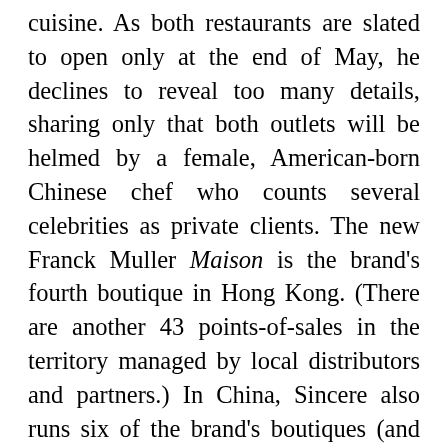cuisine. As both restaurants are slated to open only at the end of May, he declines to reveal too many details, sharing only that both outlets will be helmed by a female, American-born Chinese chef who counts several celebrities as private clients. The new Franck Muller Maison is the brand's fourth boutique in Hong Kong. (There are another 43 points-of-sales in the territory managed by local distributors and partners.) In China, Sincere also runs six of the brand's boutiques (and through partners, another 14 points of sales) and there are plans to open more in cities such as Szechuan and Chengdu. “China is a big country and every city is different. We understand the landscape quite well through our financial services and want to make sure we do things correctly and step-by-step. At the moment, increasing the Franck Muller boutiques in